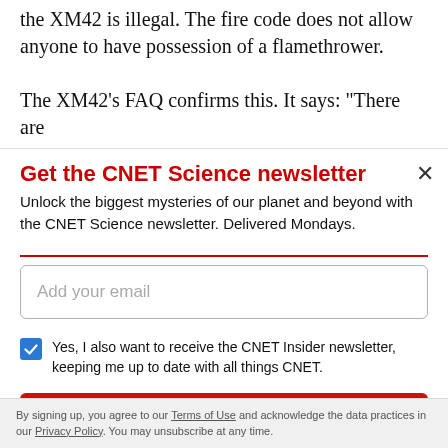the XM42 is illegal. The fire code does not allow anyone to have possession of a flamethrower.
The XM42's FAQ confirms this. It says: "There are
Get the CNET Science newsletter
Unlock the biggest mysteries of our planet and beyond with the CNET Science newsletter. Delivered Mondays.
Add your email
Yes, I also want to receive the CNET Insider newsletter, keeping me up to date with all things CNET.
Subscribe
By signing up, you agree to our Terms of Use and acknowledge the data practices in our Privacy Policy. You may unsubscribe at any time.